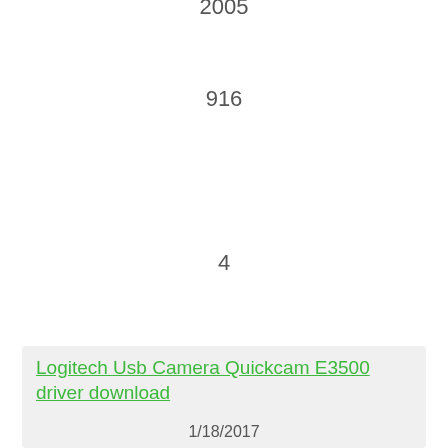2005
916
4
407
607
Logitech Usb Camera Quickcam E3500 driver download
1/18/2017